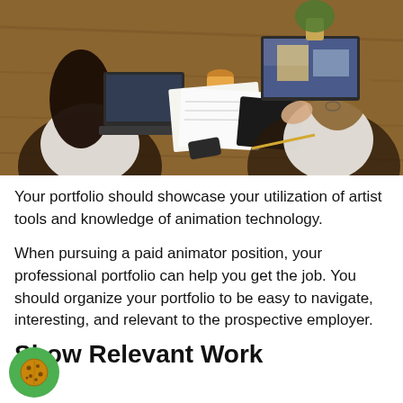[Figure (photo): Overhead view of two women sitting at a wooden desk with laptops, papers, notebooks, a coffee cup, and a smartphone, working together.]
Your portfolio should showcase your utilization of artist tools and knowledge of animation technology.
When pursuing a paid animator position, your professional portfolio can help you get the job. You should organize your portfolio to be easy to navigate, interesting, and relevant to the prospective employer.
Show Relevant Work
You should assemble your portfolio with your target